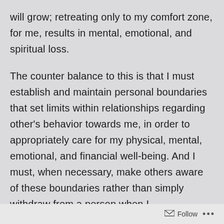will grow; retreating only to my comfort zone, for me, results in mental, emotional, and spiritual loss.

The counter balance to this is that I must establish and maintain personal boundaries that set limits within relationships regarding other's behavior towards me, in order to appropriately care for my physical, mental, emotional, and financial well-being. And I must, when necessary, make others aware of these boundaries rather than simply withdraw from a person when I
Follow